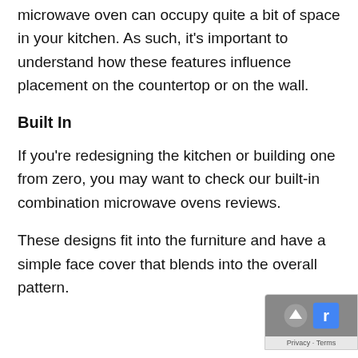microwave oven can occupy quite a bit of space in your kitchen. As such, it's important to understand how these features influence placement on the countertop or on the wall.
Built In
If you're redesigning the kitchen or building one from zero, you may want to check our built-in combination microwave ovens reviews.
These designs fit into the furniture and have a simple face cover that blends into the overall pattern.